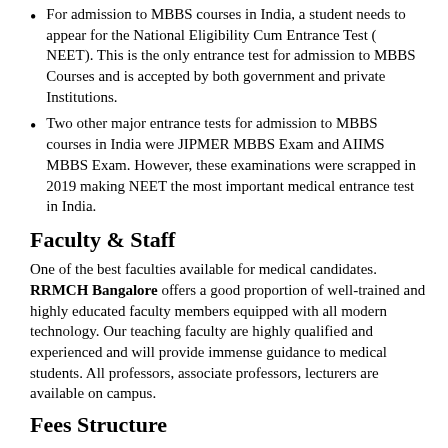For admission to MBBS courses in India, a student needs to appear for the National Eligibility Cum Entrance Test ( NEET). This is the only entrance test for admission to MBBS Courses and is accepted by both government and private Institutions.
Two other major entrance tests for admission to MBBS courses in India were JIPMER MBBS Exam and AIIMS MBBS Exam. However, these examinations were scrapped in 2019 making NEET the most important medical entrance test in India.
Faculty & Staff
One of the best faculties available for medical candidates. RRMCH Bangalore offers a good proportion of well-trained and highly educated faculty members equipped with all modern technology. Our teaching faculty are highly qualified and experienced and will provide immense guidance to medical students. All professors, associate professors, lecturers are available on campus.
Fees Structure
The fee structure of the RRMCH Bangalore for the undergraduate and postgraduate medical courses is